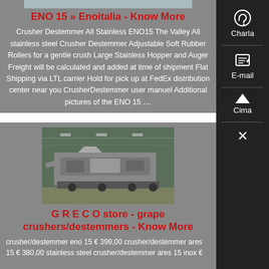[Figure (photo): Top image strip, partially visible, light blue/grey background — appears to be a product image of ENO 15 crusher destemmer]
ENO 15 » Enoitalia - Know More
Crusher Destemmer All Stainless ENO15 The Valley All stainless steel Crusher Destemmer Adjustable Soft Rubber Rollers for a gentle crush Large Stainless Hopper and Auger Freight will be calculated and added at time of shipment Flat Shipping via LTL carrier Hold for pick up at FedEx distribution center near you CrusherDestemmer user manuel Additional pictures of the ENO 15 ....
[Figure (photo): Photo of a large industrial grape crusher/destemmer machine in a warehouse or factory setting]
G R E C O store - grape crushers/destemmers - Know More
crusher/destemmer eno 15 € 399,00 crusher/destemmer ares 15 € 380,00 stainless steel crusher/destemmer ares 15 inox €